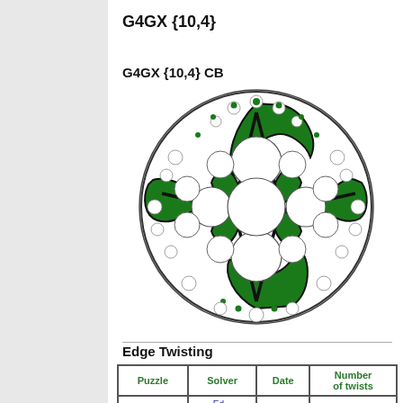G4GX {10,4}
G4GX {10,4} CB
[Figure (illustration): Hyperbolic tiling diagram showing {10,4} pattern in Poincare disk model with green filled regions, white circular regions, and black boundary lines arranged in a circular pattern]
Edge Twisting
| Puzzle | Solver | Date | Number of twists |
| --- | --- | --- | --- |
|  |  |  |  |